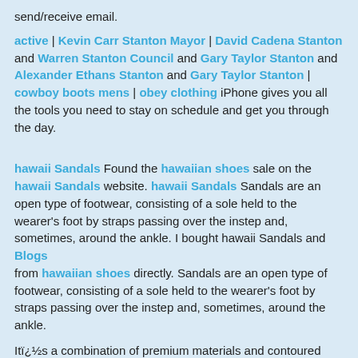send/receive email.
active | Kevin Carr Stanton Mayor | David Cadena Stanton and Warren Stanton Council and Gary Taylor Stanton and Alexander Ethans Stanton and Gary Taylor Stanton | cowboy boots mens | obey clothing iPhone gives you all the tools you need to stay on schedule and get you through the day.
hawaii Sandals Found the hawaiian shoes sale on the hawaii Sandals website. hawaii Sandals Sandals are an open type of footwear, consisting of a sole held to the wearer's foot by straps passing over the instep and, sometimes, around the ankle. I bought hawaii Sandals and Blogs from hawaiian shoes directly. Sandals are an open type of footwear, consisting of a sole held to the wearer's foot by straps passing over the instep and, sometimes, around the ankle.
Itï¿½s a combination of premium materials and contoured shapes that form the structure of hawaiian shoes We went to